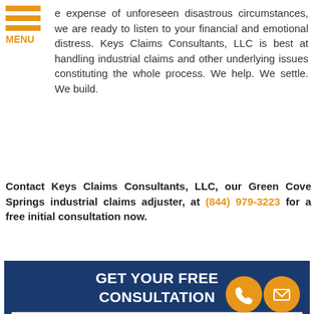[Figure (logo): Orange hamburger menu icon with three horizontal bars and MENU label below]
e expense of unforeseen disastrous circumstances, we are ready to listen to your financial and emotional distress. Keys Claims Consultants, LLC is best at handling industrial claims and other underlying issues constituting the whole process. We help. We settle. We build.
Contact Keys Claims Consultants, LLC, our Green Cove Springs industrial claims adjuster, at (844) 979-3223 for a free initial consultation now.
GET YOUR FREE CONSULTATION
Full Name
Best Phone
Email Address
How Can We Help You?